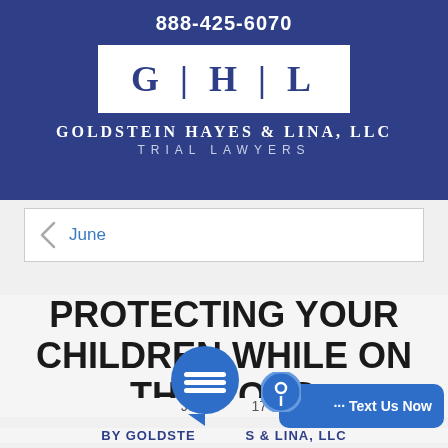888-425-6070
[Figure (logo): GHL logo with text Goldstein Hayes & Lina, LLC Trial Lawyers on dark blue background]
June
PROTECTING YOUR CHILDREN WHILE ON THE ROAD
June 2017
BY GOLDSTEIN HAYES & LINA, LLC